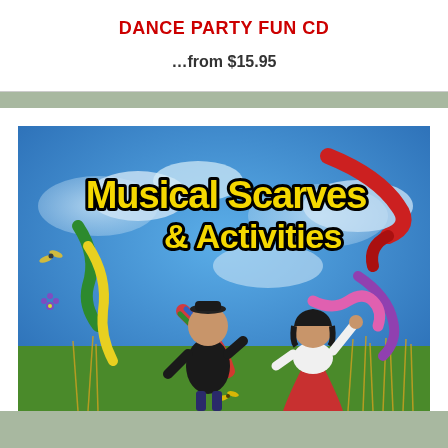DANCE PARTY FUN CD
…from $15.95
[Figure (illustration): CD cover for Musical Scarves & Activities showing two children playing with colorful scarves against a blue sky background with text 'Musical Scarves & Activities' in large yellow letters with black outline]